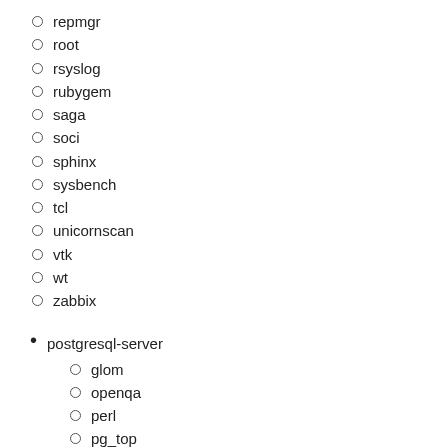repmgr
root
rsyslog
rubygem
saga
soci
sphinx
sysbench
tcl
unicornscan
vtk
wt
zabbix
postgresql-server
glom
openqa
perl
pg_top
pgaudit